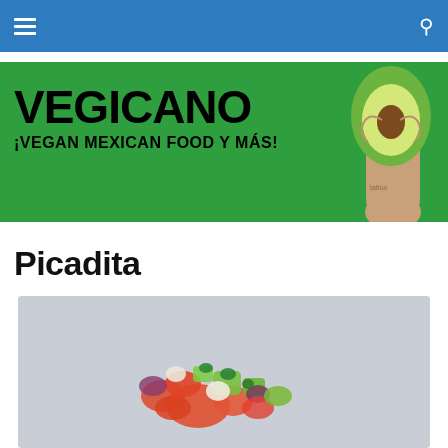Navigation bar with hamburger menu and search icon
[Figure (logo): Vegicano branding banner on green background. Large bold text 'VEGICANO' with subtitle '¡VEGAN MEXICAN FOOD Y MÁS!' and a hand holding an avocado half on the right side.]
Picadita
[Figure (photo): Photo of a picadita dish — a pile of chopped vegetables including tomatoes, cucumber, red onion, and herbs on a light grey background.]